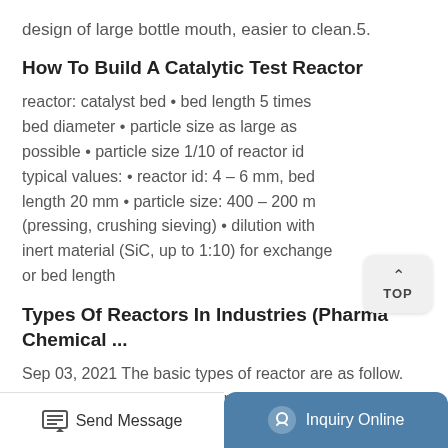design of large bottle mouth, easier to clean.5.
How To Build A Catalytic Test Reactor
reactor: catalyst bed • bed length 5 times bed diameter • particle size as large as possible • particle size 1/10 of reactor id typical values: • reactor id: 4 – 6 mm, bed length 20 mm • particle size: 400 – 200 m (pressing, crushing sieving) • dilution with inert material (SiC, up to 1:10) for exchange or bed length
Types Of Reactors In Industries (Pharma Chemical ...
Sep 03, 2021 The basic types of reactor are as follow. Batch Reactor. CSTR reactor – Continuous stirred tank reactor. PFR – Plug flow reactor.
Send Message   Inquiry Online